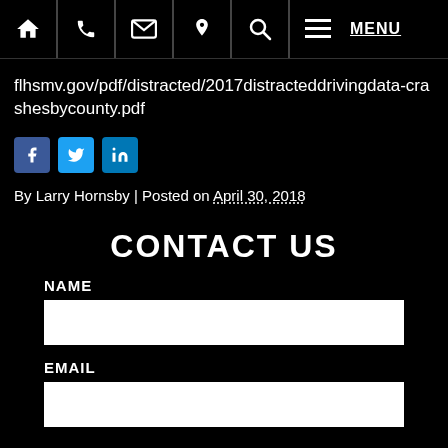Navigation bar with home, phone, email, location, search, menu icons and MENU link
flhsmv.gov/pdf/distracted/2017distracteddrivingdata-crashesbycounty.pdf
[Figure (other): Social share icons: Facebook (blue), Twitter (light blue), LinkedIn (dark blue)]
By Larry Hornsby | Posted on April 30, 2018
CONTACT US
NAME
EMAIL